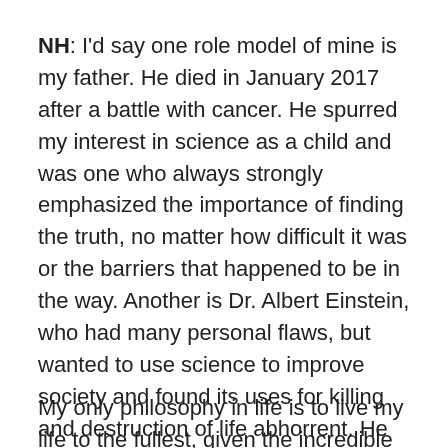NH: I'd say one role model of mine is my father. He died in January 2017 after a battle with cancer. He spurred my interest in science as a child and was one who always strongly emphasized the importance of finding the truth, no matter how difficult it was or the barriers that happened to be in the way. Another is Dr. Albert Einstein, who had many personal flaws, but wanted to use science to improve society and found its uses for killing and destruction of life abhorrent. He spoke the truth even when it marginalized him. Also Dr. Neil DeGrasse Tyson, who works hard to communicate complex topics in a way that can be understood and appreciated by the average person.
My only philosophy in life is to live my life to the fullest, given the incredible changes underway, and bring truthful